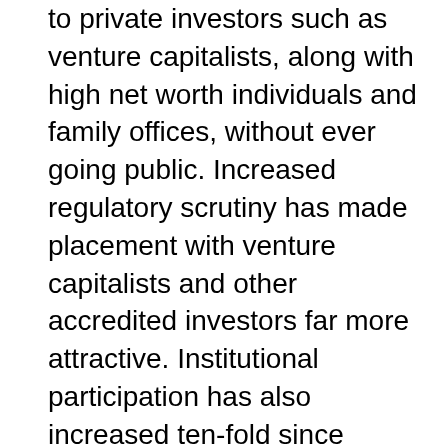large part of this investment total was only offered to private investors such as venture capitalists, along with high net worth individuals and family offices, without ever going public. Increased regulatory scrutiny has made placement with venture capitalists and other accredited investors far more attractive. Institutional participation has also increased ten-fold since before 2014, with over 900 crypto funds now available.
Cryptocurrency and Blockchain Investments
Venture capital deals with a focus on cryptocurrency and blockchain reached almost $3.9 billion to the end of the third quarter of 2018.